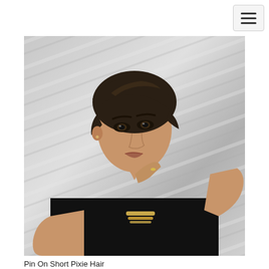[Figure (photo): A woman with a short pixie haircut wearing a black sleeveless top, touching her neck with one hand and wearing a gold bracelet, photographed against a silver textured background.]
Pin On Short Pixie Hair